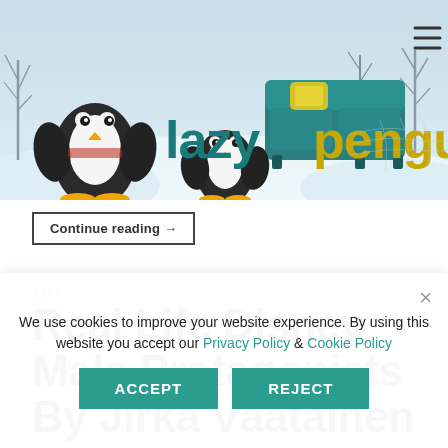[Figure (illustration): Lazy Penguins website header banner with winter scene background, two cartoon penguins, a teal sofa with yellow pillow, bare trees and snow. The site logo reads 'lazy penguins' in mixed teal and yellow lettering with a hamburger menu icon on the right.]
Continue reading →
ART
Real Life Disney Male Protagonists By Jirka Väätäinen
We use cookies to improve your website experience. By using this website you accept our Privacy Policy & Cookie Policy
ACCEPT
REJECT